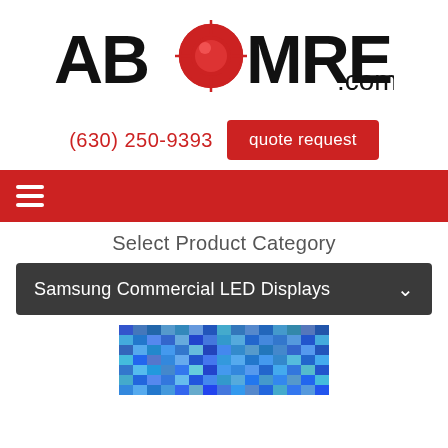[Figure (logo): ABCOMRENTS.com logo with red target/crosshair circle replacing the 'O' in ABCOM]
(630) 250-9393
quote request
[Figure (other): Red navigation bar with white hamburger menu icon (three horizontal lines)]
Select Product Category
Samsung Commercial LED Displays
[Figure (photo): Partial image of a Samsung Commercial LED Display showing colorful pixel display pattern]